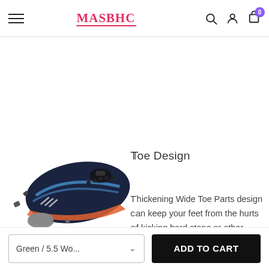MASBHC
[Figure (photo): Close-up photo of a navy blue water shoe with blue stripe accents, orange sole, and elastic lace system, shown next to small rocks on a white background — highlighting the toe design area.]
Toe Design
Thickening Wide Toe Parts design can keep your feet from the hurts of kicking hard stone or other sharp objects.